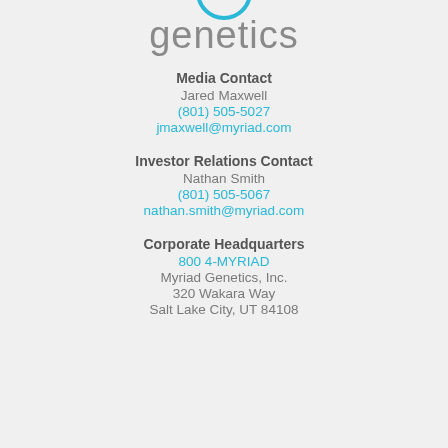[Figure (logo): Myriad Genetics logo — partial view showing 'genetics' text in grey]
Media Contact
Jared Maxwell
(801) 505-5027
jmaxwell@myriad.com
Investor Relations Contact
Nathan Smith
(801) 505-5067
nathan.smith@myriad.com
Corporate Headquarters
800 4-MYRIAD
Myriad Genetics, Inc.
320 Wakara Way
Salt Lake City, UT 84108